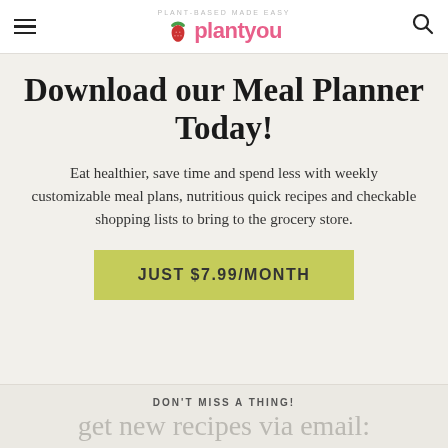PLANT-BASED MADE EASY — plantyou
Download our Meal Planner Today!
Eat healthier, save time and spend less with weekly customizable meal plans, nutritious quick recipes and checkable shopping lists to bring to the grocery store.
JUST $7.99/MONTH
DON'T MISS A THING!
get new recipes via email: